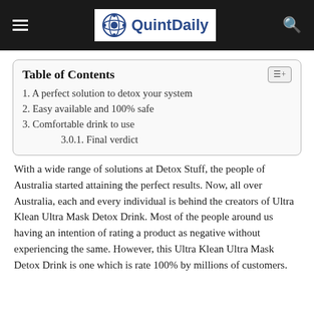QuintDaily
Table of Contents
1. A perfect solution to detox your system
2. Easy available and 100% safe
3. Comfortable drink to use
3.0.1. Final verdict
With a wide range of solutions at Detox Stuff, the people of Australia started attaining the perfect results. Now, all over Australia, each and every individual is behind the creators of Ultra Klean Ultra Mask Detox Drink. Most of the people around us having an intention of rating a product as negative without experiencing the same. However, this Ultra Klean Ultra Mask Detox Drink is one which is rate 100% by millions of customers.